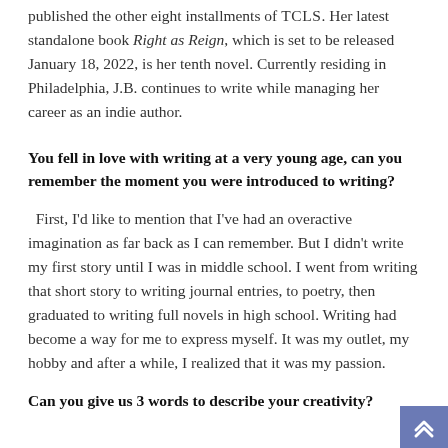published the other eight installments of TCLS. Her latest standalone book Right as Reign, which is set to be released January 18, 2022, is her tenth novel. Currently residing in Philadelphia, J.B. continues to write while managing her career as an indie author.
You fell in love with writing at a very young age, can you remember the moment you were introduced to writing?
First, I'd like to mention that I've had an overactive imagination as far back as I can remember. But I didn't write my first story until I was in middle school. I went from writing that short story to writing journal entries, to poetry, then graduated to writing full novels in high school. Writing had become a way for me to express myself. It was my outlet, my hobby and after a while, I realized that it was my passion.
Can you give us 3 words to describe your creativity?